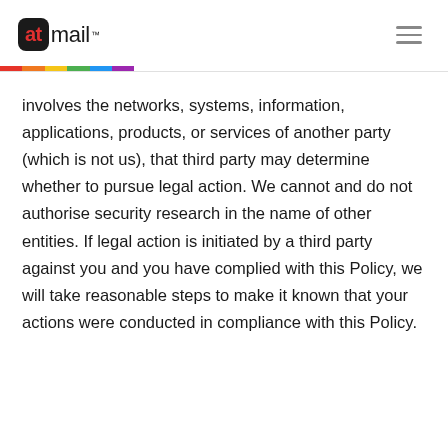[Figure (logo): atmail logo — black rounded square with 'at' text and red dot, followed by 'mail' wordmark with trademark symbol]
involves the networks, systems, information, applications, products, or services of another party (which is not us), that third party may determine whether to pursue legal action. We cannot and do not authorise security research in the name of other entities. If legal action is initiated by a third party against you and you have complied with this Policy, we will take reasonable steps to make it known that your actions were conducted in compliance with this Policy.